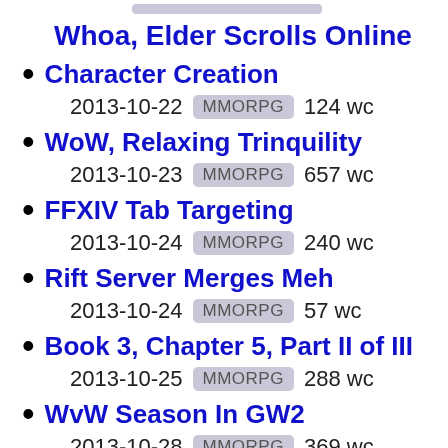Whoa, Elder Scrolls Online
Character Creation — 2013-10-22 MMORPG 124 wc
WoW, Relaxing Trinquility — 2013-10-23 MMORPG 657 wc
FFXIV Tab Targeting — 2013-10-24 MMORPG 240 wc
Rift Server Merges Meh — 2013-10-24 MMORPG 57 wc
Book 3, Chapter 5, Part II of III — 2013-10-25 MMORPG 288 wc
WvW Season In GW2 — 2013-10-28 MMORPG 369 wc